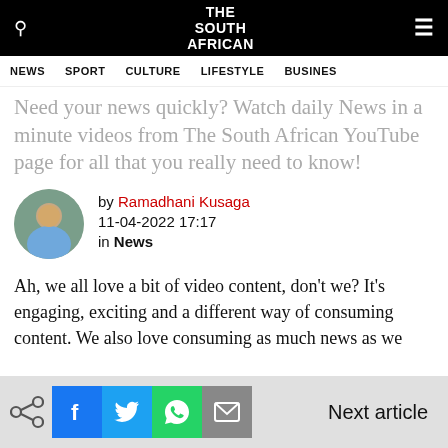THE SOUTH AFRICAN
NEWS  SPORT  CULTURE  LIFESTYLE  BUSINESS
Need your news quickly? Watch daily News in a minute videos from The South African YouTube page for all that you really need to know!
by Ramadhani Kusaga
11-04-2022 17:17
in News
Ah, we all love a bit of video content, don't we? It's engaging, exciting and a different way of consuming content. We also love consuming as much news as we
Next article